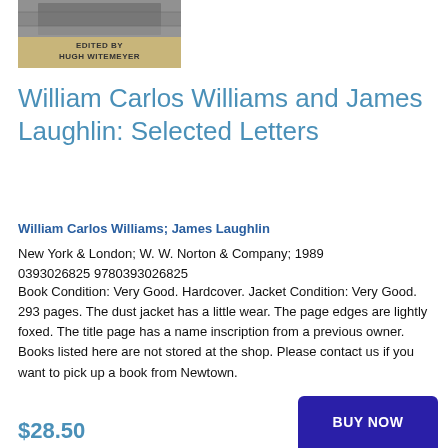[Figure (photo): Book cover image with text 'EDITED BY HUGH WITEMEYER' on a tan/beige background with a photographic image at top]
William Carlos Williams and James Laughlin: Selected Letters
William Carlos Williams; James Laughlin
New York & London; W. W. Norton & Company; 1989
0393026825 9780393026825
Book Condition: Very Good. Hardcover. Jacket Condition: Very Good. 293 pages. The dust jacket has a little wear. The page edges are lightly foxed. The title page has a name inscription from a previous owner. Books listed here are not stored at the shop. Please contact us if you want to pick up a book from Newtown.
$28.50
BUY NOW